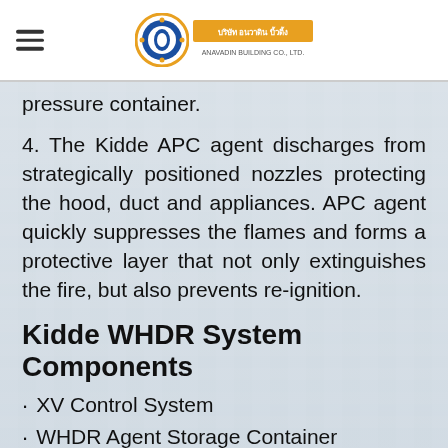Anavadin Building Co. Ltd. logo and company name
pressure container.
4. The Kidde APC agent discharges from strategically positioned nozzles protecting the hood, duct and appliances. APC agent quickly suppresses the flames and forms a protective layer that not only extinguishes the fire, but also prevents re-ignition.
Kidde WHDR System Components
XV Control System
WHDR Agent Storage Container